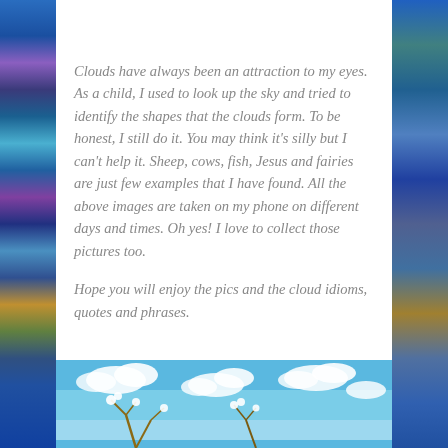Clouds have always been an attraction to my eyes. As a child, I used to look up the sky and tried to identify the shapes that the clouds form. To be honest, I still do it. You may think it's silly but I can't help it. Sheep, cows, fish, Jesus and fairies are just few examples that I have found. All the above images are taken on my phone on different days and times. Oh yes! I love to collect those pictures too.
Hope you will enjoy the pics and the cloud idioms, quotes and phrases.
[Figure (photo): Photo of blue sky with white fluffy clouds and tree branches with white blossoms visible at the bottom]